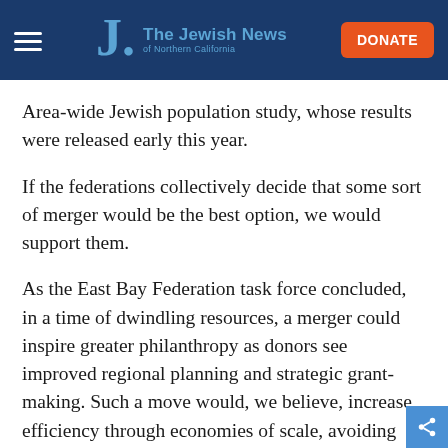The Jewish News of Northern California
Area-wide Jewish population study, whose results were released early this year.
If the federations collectively decide that some sort of merger would be the best option, we would support them.
As the East Bay Federation task force concluded, in a time of dwindling resources, a merger could inspire greater philanthropy as donors see improved regional planning and strategic grant-making. Such a move would, we believe, increase efficiency through economies of scale, avoiding duplication of efforts. One single organization